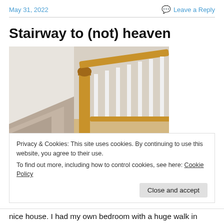May 31, 2022   Leave a Reply
Stairway to (not) heaven
[Figure (photo): Photo of a residential staircase with wooden banister/newel post and white balusters, carpeted steps visible on left side.]
Privacy & Cookies: This site uses cookies. By continuing to use this website, you agree to their use.
To find out more, including how to control cookies, see here: Cookie Policy
Close and accept
nice house. I had my own bedroom with a huge walk in